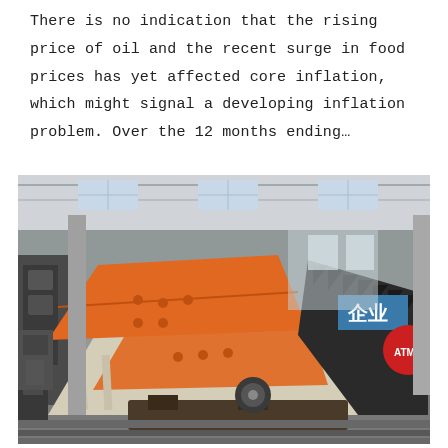There is no indication that the rising price of oil and the recent surge in food prices has yet affected core inflation, which might signal a developing inflation problem. Over the 12 months ending…
[Figure (photo): Industrial vibrating screen / sieving machine in a large factory warehouse. The machine has a large orange upper deck and a cream/beige lower body with black side components. A Chinese sign reading '企业' (enterprise/company) is visible in the background. The factory has steel structure roofing and concrete floors.]